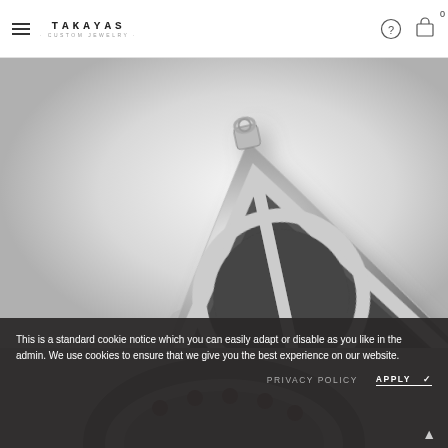TAKAYAS · CUSTOM JEWELRY — navigation header with hamburger menu, help icon, cart icon, count 0
[Figure (photo): Silver Deathly Hallows pendant necklace — triangular pendant with inscribed circle and vertical line, forming the Deathly Hallows symbol, rendered in 3D on a light gray background]
This is a standard cookie notice which you can easily adapt or disable as you like in the admin. We use cookies to ensure that we give you the best experience on our website.
[Figure (photo): Partial view of a dark metal ring with intricate decorative patterns, visible at bottom of page behind cookie banner]